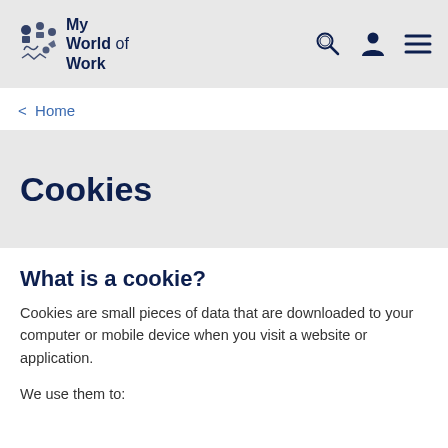My World of Work
< Home
Cookies
What is a cookie?
Cookies are small pieces of data that are downloaded to your computer or mobile device when you visit a website or application.
We use them to: